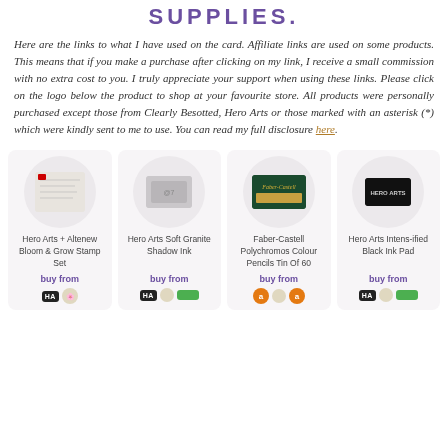SUPPLIES.
Here are the links to what I have used on the card. Affiliate links are used on some products. This means that if you make a purchase after clicking on my link, I receive a small commission with no extra cost to you. I truly appreciate your support when using these links. Please click on the logo below the product to shop at your favourite store. All products were personally purchased except those from Clearly Besotted, Hero Arts or those marked with an asterisk (*) which were kindly sent to me to use. You can read my full disclosure here.
[Figure (photo): Hero Arts + Altenew Bloom & Grow Stamp Set product image in a rounded card with buy from icons (HA, Altenew)]
[Figure (photo): Hero Arts Soft Granite Shadow Ink product image in a rounded card with buy from icons (HA, Altenew, green store)]
[Figure (photo): Faber-Castell Polychromos Colour Pencils Tin Of 60 product image in a rounded card with buy from icons (Amazon UK, Altenew, Amazon)]
[Figure (photo): Hero Arts Intens-ified Black Ink Pad product image in a rounded card with buy from icons (HA, Altenew, green store)]